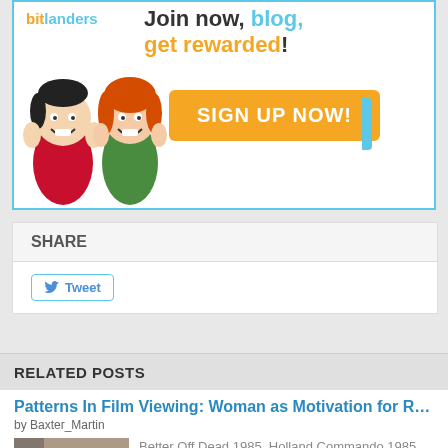[Figure (illustration): Bitlanders advertisement banner: 'Join now, blog, get rewarded! SIGN UP NOW!' with cartoon characters and logo]
SHARE
[Figure (screenshot): Tweet button with Twitter bird icon]
RELATED POSTS
Patterns In Film Viewing: Woman as Motivation for Redem...
by Baxter_Martin
[Figure (photo): Movie still thumbnail showing a person]
Better Off Dead 1985, Holland Commando 1985, Lester Faust 2011, Sokurov Top Five 2014, Rock ...
Read more...